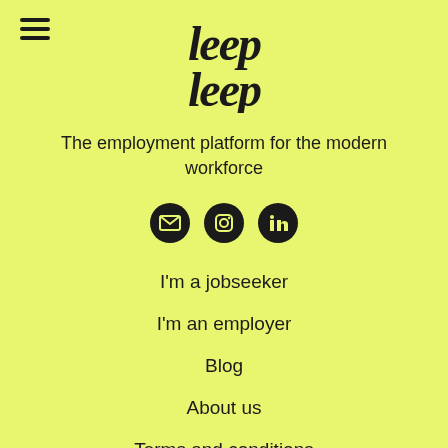[Figure (logo): leep leep company logo in bold italic serif font, stacked two lines]
The employment platform for the modern workforce
[Figure (other): Three social media icon circles: email/envelope, Instagram, LinkedIn]
I'm a jobseeker
I'm an employer
Blog
About us
Terms and conditions
Privacy policy